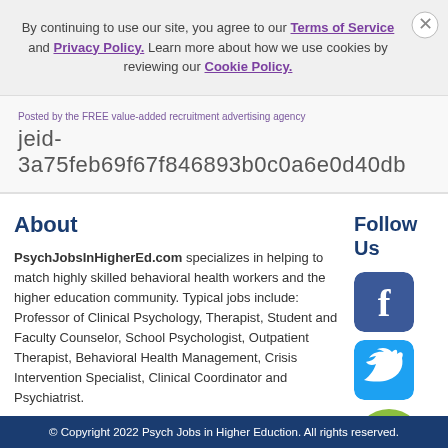By continuing to use our site, you agree to our Terms of Service and Privacy Policy. Learn more about how we use cookies by reviewing our Cookie Policy.
Posted by the FREE value-added recruitment advertising agency jeid-3a75feb69f67f846893b0c0a6e0d40db
About
PsychJobsInHigherEd.com specializes in helping to match highly skilled behavioral health workers and the higher education community. Typical jobs include: Professor of Clinical Psychology, Therapist, Student and Faculty Counselor, School Psychologist, Outpatient Therapist, Behavioral Health Management, Crisis Intervention Specialist, Clinical Coordinator and Psychiatrist.
Follow Us
[Figure (logo): Facebook icon - blue square with white F]
[Figure (logo): Twitter icon - blue square with white bird]
[Figure (logo): Chat/messaging app icon - green circle with white speech bubble]
© Copyright 2022 Psych Jobs in Higher Eduction. All rights reserved.